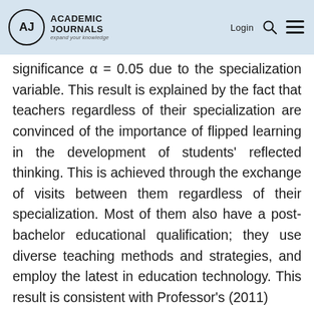Academic Journals — expand your knowledge | Login
significance α = 0.05 due to the specialization variable. This result is explained by the fact that teachers regardless of their specialization are convinced of the importance of flipped learning in the development of students' reflected thinking. This is achieved through the exchange of visits between them regardless of their specialization. Most of them also have a post-bachelor educational qualification; they use diverse teaching methods and strategies, and employ the latest in education technology. This result is consistent with Professor's (2011)